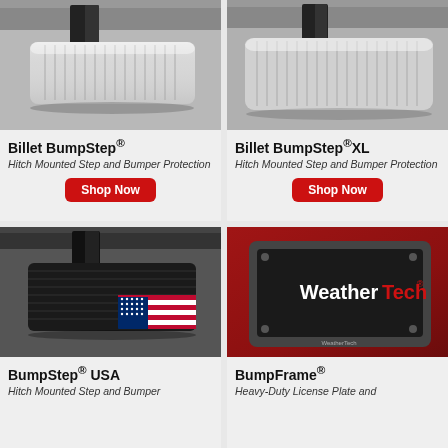[Figure (photo): Billet BumpStep hitch mounted step — chrome/silver step viewed from angle, mounted on vehicle hitch]
Billet BumpStep®
Hitch Mounted Step and Bumper Protection
Shop Now
[Figure (photo): Billet BumpStep XL hitch mounted step — chrome/silver larger step viewed from angle, mounted on vehicle hitch]
Billet BumpStep®XL
Hitch Mounted Step and Bumper Protection
Shop Now
[Figure (photo): BumpStep USA — black rubber hitch step with American flag (red, white, blue stars and stripes) graphic on side, mounted on vehicle hitch]
BumpStep® USA
Hitch Mounted Step and Bumper
[Figure (photo): BumpFrame — WeatherTech branded heavy-duty license plate frame mounted on red vehicle, dark gray/black frame with WeatherTech logo in white and red]
BumpFrame®
Heavy-Duty License Plate and